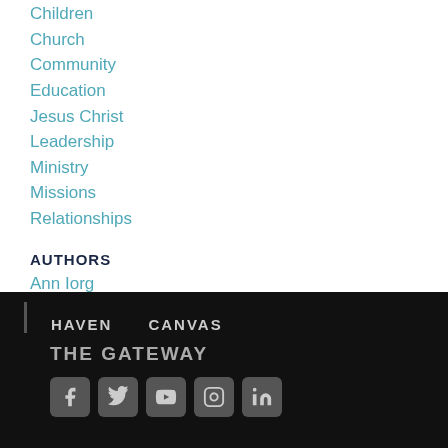Children
Church
Community
Education
Jesus Christ
Leadership
Ministry
Missions
Relationships
AUTHORS
Ann Iorg
R. Michael Kuykendall
HAVEN   CANVAS   THE GATEWAY